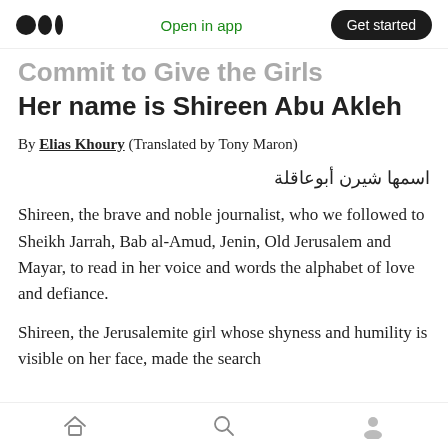Medium logo | Open in app | Get started
Her name is Shireen Abu Akleh
By Elias Khoury (Translated by Tony Maron)
اسمها شيرن أبوعاقلة
Shireen, the brave and noble journalist, who we followed to Sheikh Jarrah, Bab al-Amud, Jenin, Old Jerusalem and Mayar, to read in her voice and words the alphabet of love and defiance.
Shireen, the Jerusalemite girl whose shyness and humility is visible on her face, made the search
Home | Search | Profile